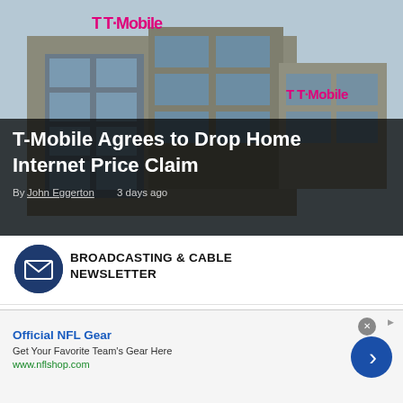[Figure (photo): T-Mobile corporate office building exterior with T-Mobile logo signage, photographed from below against a light sky]
T-Mobile Agrees to Drop Home Internet Price Claim
By John Eggerton 3 days ago
[Figure (logo): Broadcasting & Cable Newsletter envelope icon logo in dark navy circle]
BROADCASTING & CABLE NEWSLETTER
The smarter way to stay on top of
[Figure (infographic): Advertisement for Official NFL Gear with close button and arrow navigation]